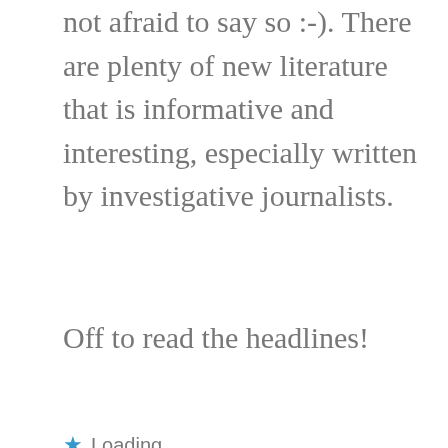not afraid to say so :-). There are plenty of new literature that is informative and interesting, especially written by investigative journalists.
Off to read the headlines!
★ Loading...
REPLY
Malavika
AUGUST 17, 2011 AT 7:24 PM